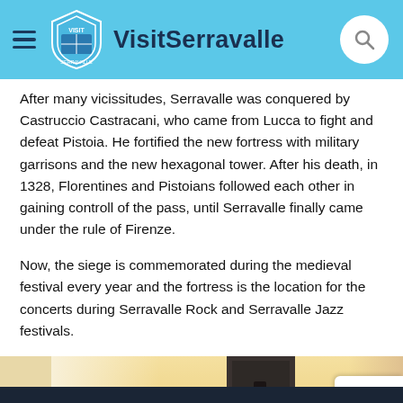VisitSerravalle
After many vicissitudes, Serravalle was conquered by Castruccio Castracani, who came from Lucca to fight and defeat Pistoia. He fortified the new fortress with military garrisons and the new hexagonal tower. After his death, in 1328, Florentines and Pistoians followed each other in gaining controll of the pass, until Serravalle finally came under the rule of Firenze.
Now, the siege is commemorated during the medieval festival every year and the fortress is the location for the concerts during Serravalle Rock and Serravalle Jazz festivals.
[Figure (photo): Photo of a stone tower/fortress structure against a warm background sky]